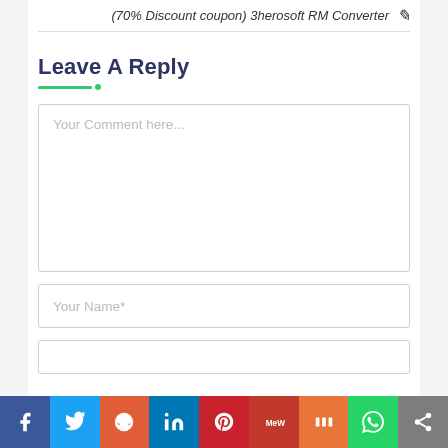(70% Discount coupon) 3herosoft RM Converter ✏
Leave A Reply
Your Comment here...
Your Name*
[Figure (infographic): Social media sharing bar with icons: Facebook, Twitter, Reddit, LinkedIn, Pinterest, MeWe, Mix, WhatsApp, Share]